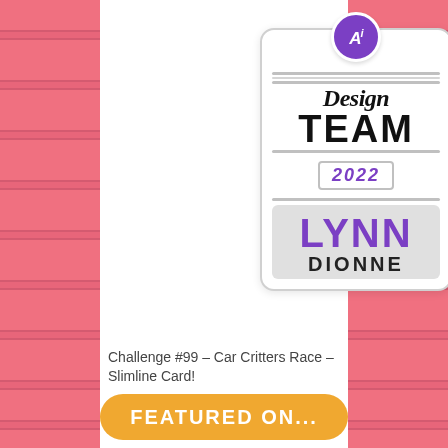[Figure (logo): Ai Design Team 2022 badge with purple circle logo, script 'Design', bold 'TEAM', year 2022, name LYNN DIONNE on gray background]
Challenge #99 – Car Critters Race – Slimline Card!
FEATURED ON...